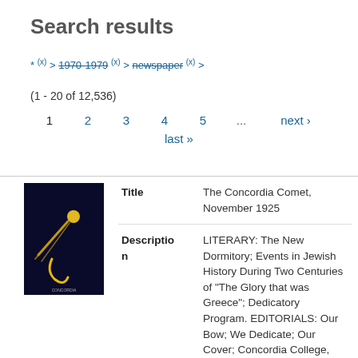Search results
* (x) > 1970-1979 (x) > newspaper (x) >
(1 - 20 of 12,536)
1   2   3   4   5   ...   next ›
last »
[Figure (illustration): Thumbnail image of the Concordia Comet publication cover — dark navy background with a golden comet/meteor with a tail and a sickle-hook shape, text CONCORDIA at bottom]
| Field | Value |
| --- | --- |
| Title | The Concordia Comet, November 1925 |
| Description | LITERARY: The New Dormitory; Events in Jewish History During Two Centuries of "The Glory that was Greece"; Dedicatory Program. EDITORIALS: Our Bow; We Dedicate; Our Cover; Concordia College, "One of the Leading Junior Colleges in the United States". SPORTS. NEWS. IN MEMORIAM. ALUMNI. SLIVERS: The Pessimist. |